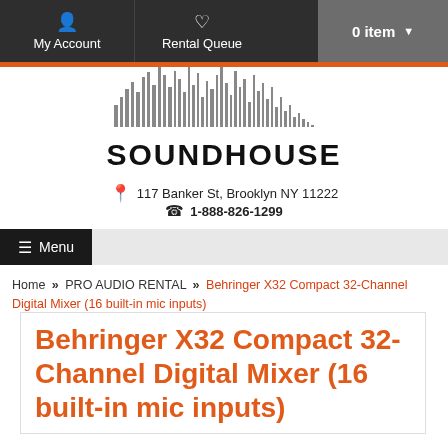My Account | Rental Queue | 0 item
[Figure (logo): Soundhouse logo with barcode-style bars above the text SOUNDHOUSE]
117 Banker St, Brooklyn NY 11222
1-888-826-1299
≡ Menu
Home » PRO AUDIO RENTAL » Behringer X32 Compact 32-Channel Digital Mixer (16 built-in mic inputs)
Behringer X32 Compact 32-Channel Digital Mixer (16 built-in mic inputs)